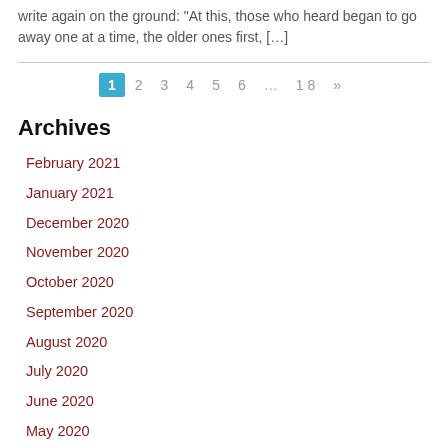write again on the ground: “At this, those who heard began to go away one at a time, the older ones first, […]
1 2 3 4 5 6 … 1 8 »
Archives
February 2021
January 2021
December 2020
November 2020
October 2020
September 2020
August 2020
July 2020
June 2020
May 2020
April 2020